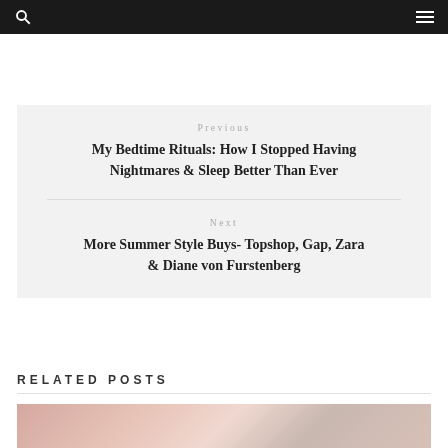[Search] [Menu]
Previous
My Bedtime Rituals: How I Stopped Having Nightmares & Sleep Better Than Ever
Next
More Summer Style Buys- Topshop, Gap, Zara & Diane von Furstenberg
RELATED POSTS
[Figure (photo): Floral photograph, partial view at bottom of page]